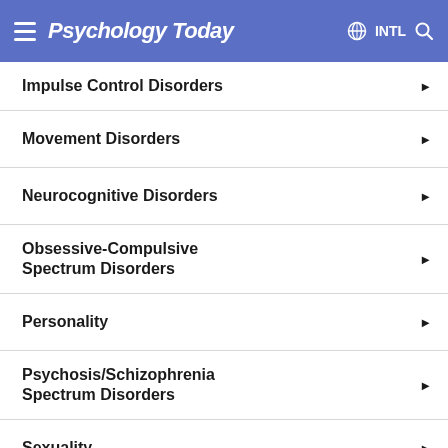Psychology Today — INTL
Impulse Control Disorders
Movement Disorders
Neurocognitive Disorders
Obsessive-Compulsive Spectrum Disorders
Personality
Psychosis/Schizophrenia Spectrum Disorders
Sexuality
Sleep Disorders